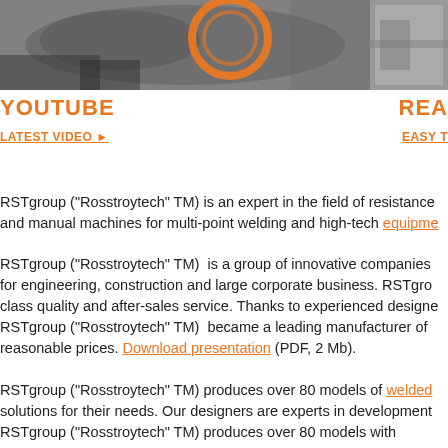[Figure (photo): Two side-by-side photos at the top: left photo shows welding/industrial equipment with orange circular element, right photo shows metallic machinery in grayscale.]
YOUTUBE
LATEST VIDEO ►
REA
EASY T
RSTgroup ("Rosstroytech" TM) is an expert in the field of resistance and manual machines for multi-point welding and high-tech equipme
RSTgroup ("Rosstroytech" TM) is a group of innovative companies for engineering, construction and large corporate business. RSTgro class quality and after-sales service. Thanks to experienced designe RSTgroup ("Rosstroytech" TM) became a leading manufacturer of reasonable prices. Download presentation (PDF, 2 Mb).
RSTgroup ("Rosstroytech" TM) produces over 80 models of welded solutions for their needs. Our designers are experts in development RSTgroup ("Rosstroytech" TM) produces over 80 models with